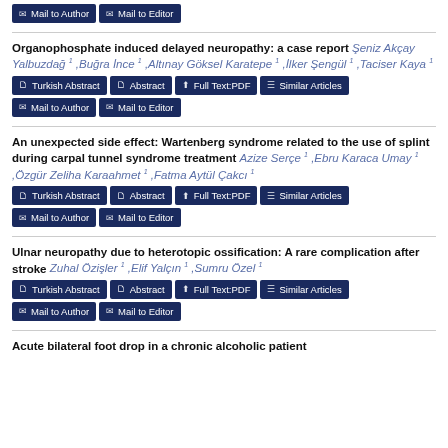Mail to Author | Mail to Editor (top buttons)
Organophosphate induced delayed neuropathy: a case report
Şeniz Akçay Yalbuzdağ 1 ,Buğra İnce 1 ,Altınay Göksel Karatepe 1 ,İlker Şengül 1 ,Taciser Kaya 1
Turkish Abstract | Abstract | Full Text:PDF | Similar Articles | Mail to Author | Mail to Editor
An unexpected side effect: Wartenberg syndrome related to the use of splint during carpal tunnel syndrome treatment
Azize Serçe 1 ,Ebru Karaca Umay 1 ,Özgür Zeliha Karaahmet 1 ,Fatma Aytül Çakcı 1
Turkish Abstract | Abstract | Full Text:PDF | Similar Articles | Mail to Author | Mail to Editor
Ulnar neuropathy due to heterotopic ossification: A rare complication after stroke
Zuhal Özişler 1 ,Elif Yalçın 1 ,Sumru Özel 1
Turkish Abstract | Abstract | Full Text:PDF | Similar Articles | Mail to Author | Mail to Editor
Acute bilateral foot drop in a chronic alcoholic patient